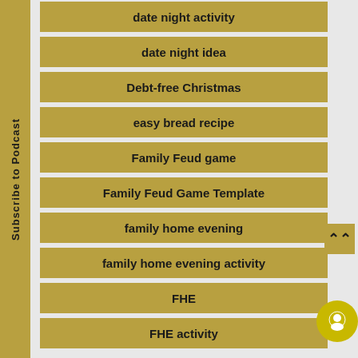date night activity
date night idea
Debt-free Christmas
easy bread recipe
Family Feud game
Family Feud Game Template
family home evening
family home evening activity
FHE
FHE activity